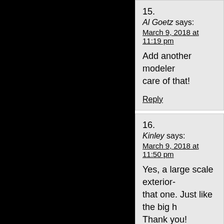15.
Al Goetz says:
March 9, 2018 at 11:19 pm

Add another modeler care of that!

Reply
16.
Kinley says:
March 9, 2018 at 11:50 pm

Yes, a large scale exterior- that one. Just like the big h Thank you!

Reply
17.
Griffworks says:
March 10, 2018 at 10:07 a

Sweet!